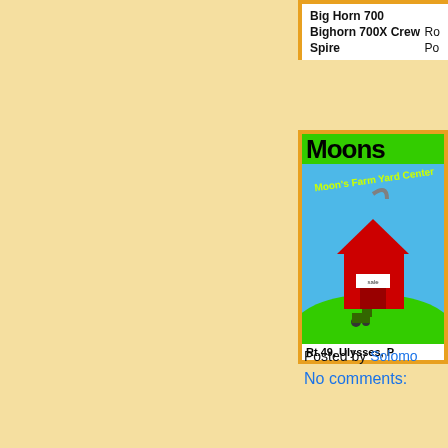| Big Horn 700 |  |
| Bighorn 700X Crew | Ro |
| Spire | Po |
[Figure (logo): Moon's Farm Yard Center advertisement with green background, blue sky, red barn illustration and text 'Moons' in large black letters. Address shown: Rt.49, Ulysses, P]
Posted by Solomon
No comments: